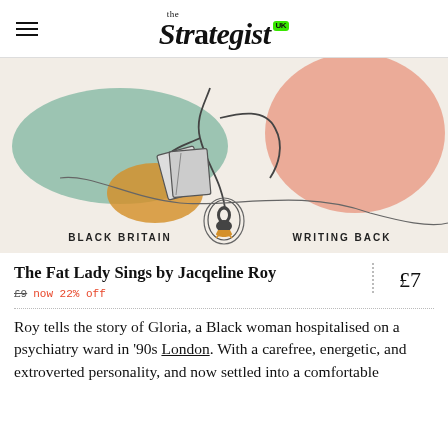the Strategist UK
[Figure (illustration): Book cover illustration for 'Black Britain Writing Back' series showing abstract line art of a figure reading, with soft teal, peach, and mustard color blobs. Text reads 'BLACK BRITAIN (Penguin logo) WRITING BACK'.]
The Fat Lady Sings by Jacqeline Roy
£9 now 22% off
£7
Roy tells the story of Gloria, a Black woman hospitalised on a psychiatry ward in '90s London. With a carefree, energetic, and extroverted personality, and now settled into a comfortable